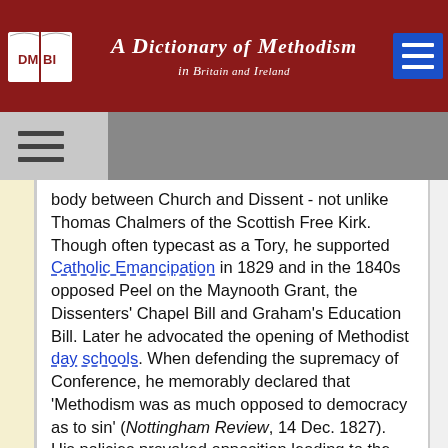A Dictionary of Methodism in Britain and Ireland
body between Church and Dissent - not unlike Thomas Chalmers of the Scottish Free Kirk. Though often typecast as a Tory, he supported Catholic Emancipation in 1829 and in the 1840s opposed Peel on the Maynooth Grant, the Dissenters' Chapel Bill and Graham's Education Bill. Later he advocated the opening of Methodist day schools. When defending the supremacy of Conference, he memorably declared that 'Methodism was as much opposed to democracy as to sin' (Nottingham Review, 14 Dec. 1827). His policies provoked opposition leading to the secession of Protestant Methodists (1828) and the Wesleyan Methodist Association (1835), and finally to the Fly Sheets controversy. Clearly there was an air of clericalism about 'High Methodism', the marks of a Connexion becoming a Church, but having to attain too quickly the maturity of a national institution. Bunting showed an inflexibility and insensitivity and his opponents a